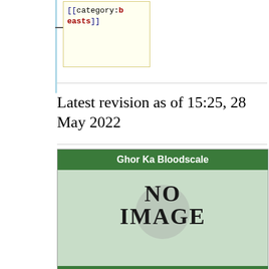[[category:beasts]]
Latest revision as of 15:25, 28 May 2022
| Ghor Ka Bloodscale |  |
| NO IMAGE |  |
| Fauna |  |
| Official Name | Ghor Ka Bloodscale |
| Common Nicknames | Redscales, Mirahati |
| Classification | Reptile |